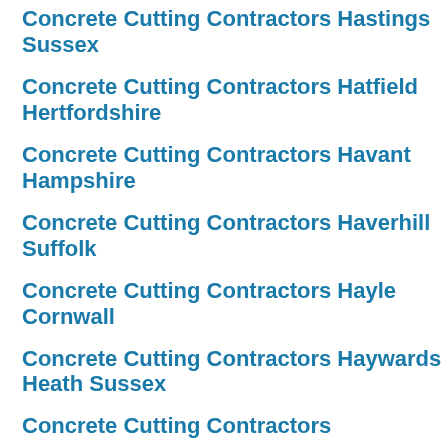Concrete Cutting Contractors Hastings Sussex
Concrete Cutting Contractors Hatfield Hertfordshire
Concrete Cutting Contractors Havant Hampshire
Concrete Cutting Contractors Haverhill Suffolk
Concrete Cutting Contractors Hayle Cornwall
Concrete Cutting Contractors Haywards Heath Sussex
Concrete Cutting Contractors